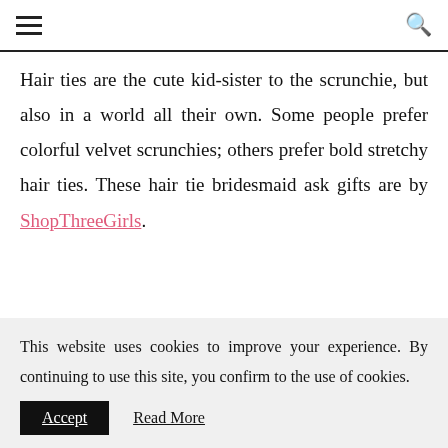≡  🔍
Hair ties are the cute kid-sister to the scrunchie, but also in a world all their own. Some people prefer colorful velvet scrunchies; others prefer bold stretchy hair ties. These hair tie bridesmaid ask gifts are by ShopThreeGirls.
This website uses cookies to improve your experience. By continuing to use this site, you confirm to the use of cookies.
Accept   Read More